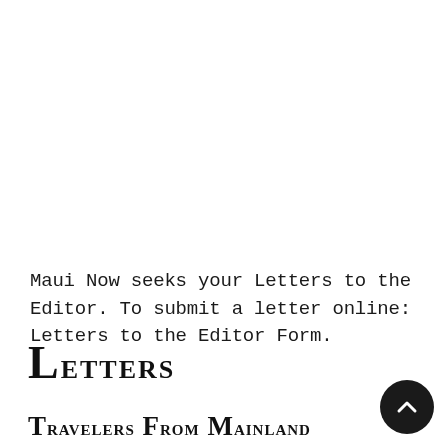Maui Now seeks your Letters to the Editor. To submit a letter online: Letters to the Editor Form.
Letters
Travelers From Mainland